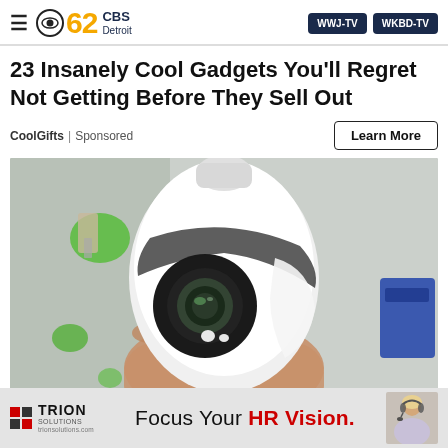CBS 62 CBS Detroit | WWJ-TV | WKBD-TV
23 Insanely Cool Gadgets You'll Regret Not Getting Before They Sell Out
CoolGifts | Sponsored
[Figure (photo): A hand holding a white egg-shaped security camera with a round lens, placed against a blurred background with green lights and a blue object.]
[Figure (logo): Trion Solutions advertisement banner: 'Focus Your HR Vision.' with logo and woman wearing headset.]